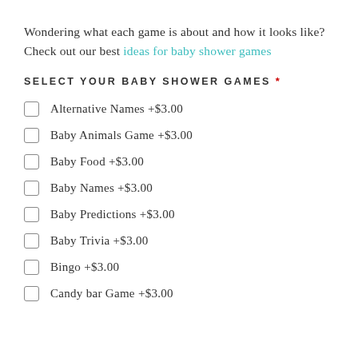Wondering what each game is about and how it looks like? Check out our best ideas for baby shower games
SELECT YOUR BABY SHOWER GAMES *
Alternative Names +$3.00
Baby Animals Game +$3.00
Baby Food +$3.00
Baby Names +$3.00
Baby Predictions +$3.00
Baby Trivia +$3.00
Bingo +$3.00
Candy bar Game +$3.00